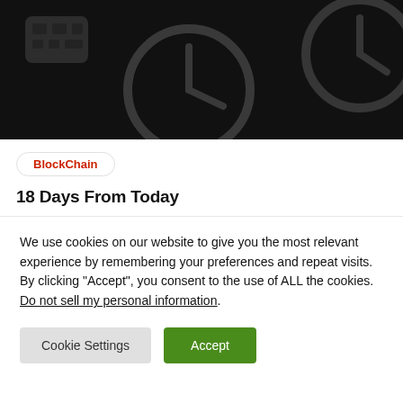[Figure (illustration): Dark background hero image showing clock and calendar/keyboard icons rendered in dark grey on black background]
BlockChain
18 Days From Today
We use cookies on our website to give you the most relevant experience by remembering your preferences and repeat visits. By clicking “Accept”, you consent to the use of ALL the cookies.
Do not sell my personal information.
Cookie Settings
Accept